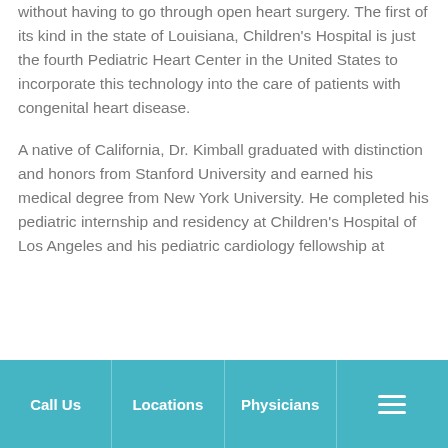without having to go through open heart surgery. The first of its kind in the state of Louisiana, Children's Hospital is just the fourth Pediatric Heart Center in the United States to incorporate this technology into the care of patients with congenital heart disease.
A native of California, Dr. Kimball graduated with distinction and honors from Stanford University and earned his medical degree from New York University. He completed his pediatric internship and residency at Children's Hospital of Los Angeles and his pediatric cardiology fellowship at
Call Us   Locations   Physicians